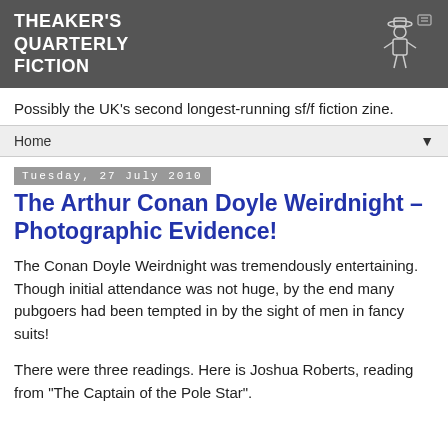THEAKER'S QUARTERLY FICTION
Possibly the UK's second longest-running sf/f fiction zine.
Home
Tuesday, 27 July 2010
The Arthur Conan Doyle Weirdnight – Photographic Evidence!
The Conan Doyle Weirdnight was tremendously entertaining. Though initial attendance was not huge, by the end many pubgoers had been tempted in by the sight of men in fancy suits!
There were three readings. Here is Joshua Roberts, reading from "The Captain of the Pole Star".